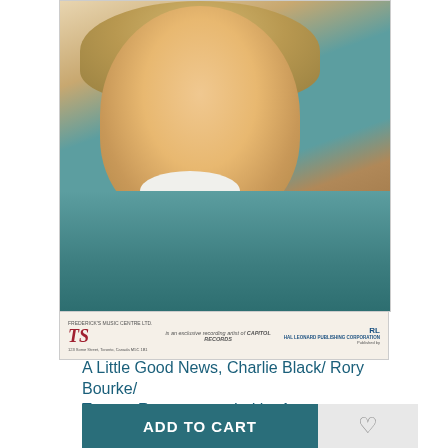[Figure (photo): Sheet music cover photo showing Anne Murray, a woman with short curly blonde hair and blue eyes, wearing a teal sweater with white collar, resting her chin on her hands. Bottom of cover shows publisher logos for Frederick's Music Centre Ltd. and Hal Leonard Publishing Corporation, with text 'is an exclusive recording artist of CAPITOL RECORDS'.]
A Little Good News, Charlie Black/ Rory Bourke/ Tommy Rocco, recorded by Anne Murray
$19.99
ADD TO CART